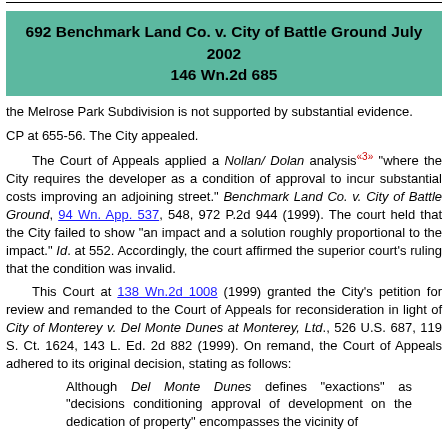692 Benchmark Land Co. v. City of Battle Ground July 2002 146 Wn.2d 685
the Melrose Park Subdivision is not supported by substantial evidence.
CP at 655-56. The City appealed.
The Court of Appeals applied a Nollan/ Dolan analysis «3» "where the City requires the developer as a condition of approval to incur substantial costs improving an adjoining street." Benchmark Land Co. v. City of Battle Ground, 94 Wn. App. 537, 548, 972 P.2d 944 (1999). The court held that the City failed to show "an impact and a solution roughly proportional to the impact." Id. at 552. Accordingly, the court affirmed the superior court's ruling that the condition was invalid.
This Court at 138 Wn.2d 1008 (1999) granted the City's petition for review and remanded to the Court of Appeals for reconsideration in light of City of Monterey v. Del Monte Dunes at Monterey, Ltd., 526 U.S. 687, 119 S. Ct. 1624, 143 L. Ed. 2d 882 (1999). On remand, the Court of Appeals adhered to its original decision, stating as follows:
Although Del Monte Dunes defines "exactions" as "decisions conditioning approval of development on the dedication of property" encompasses the vicinity of